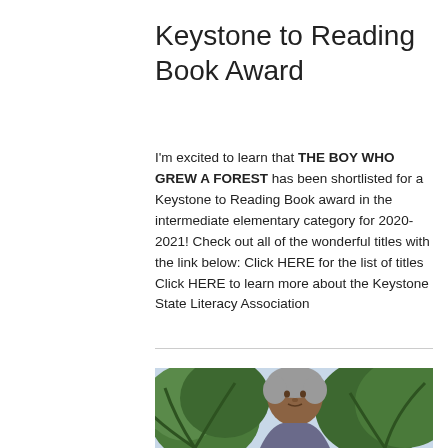Keystone to Reading Book Award
I'm excited to learn that THE BOY WHO GREW A FOREST has been shortlisted for a Keystone to Reading Book award in the intermediate elementary category for 2020-2021! Check out all of the wonderful titles with the link below: Click HERE for the list of titles Click HERE to learn more about the Keystone State Literacy Association
[Figure (photo): Photo of a man with grey hair outdoors surrounded by palm/tropical trees, with a '1/2' navigation badge overlay in the top right corner]